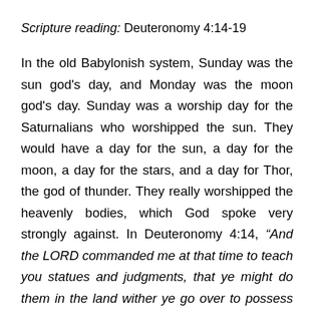Scripture reading: Deuteronomy 4:14-19
In the old Babylonish system, Sunday was the sun god's day, and Monday was the moon god's day. Sunday was a worship day for the Saturnalians who worshipped the sun. They would have a day for the sun, a day for the moon, a day for the stars, and a day for Thor, the god of thunder. They really worshipped the heavenly bodies, which God spoke very strongly against. In Deuteronomy 4:14, “And the LORD commanded me at that time to teach you statues and judgments, that ye might do them in the land wither ye go over to possess it.” Verses 18 and 19, “The likeness of any thing that creepeth on the ground, the likeness of any fish that is in the waters beneath the earth: And lest thou lift up thine eyes unto heaven, and when thou seest the sun, and the moon, and the stars, even all